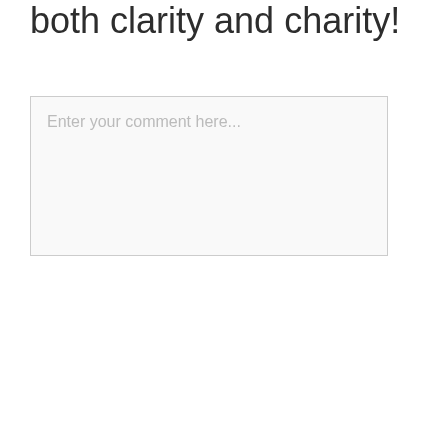both clarity and charity!
Enter your comment here...